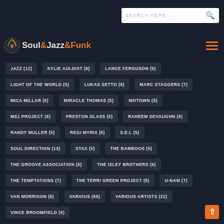SEARCH HERE....
[Figure (logo): Soul&Jazz&Funk logo with music note icon]
JAZZ (12)
KYLIE AULDIST (6)
LANCE FERGUSON (5)
LIGHT OF THE WORLD (5)
LUKAS SETTO (8)
MARC STAGGERS (7)
MICA MILLAR (5)
MIRACLE THOMAS (5)
MOTOWN (5)
MS1 PROJECT (6)
PRESTON GLASS (5)
RAHEEM DEVAUGHN (6)
RANDY MULLER (5)
REGI MYRIX (6)
S.E.L (5)
SOUL DIRECTION (13)
STAX (5)
THE BAMBOOS (6)
THE GROOVE ASSOCIATION (5)
THE ISLEY BROTHERS (6)
THE TEMPTATIONS (7)
THE TERRI GREEN PROJECT (8)
U-NAM (7)
VAN MORRISON (8)
VARIOUS (68)
VARIOUS ARTISTS (22)
VINCE BROOMFIELD (6)